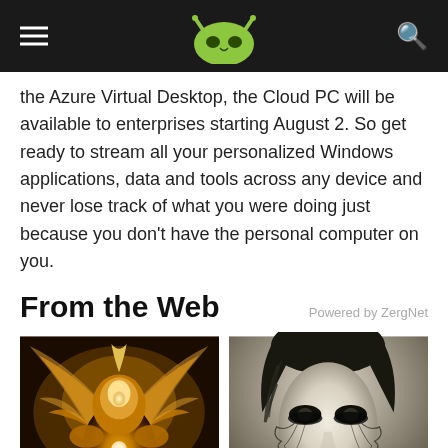Android Authority header with logo and navigation
the Azure Virtual Desktop, the Cloud PC will be available to enterprises starting August 2. So get ready to stream all your personalized Windows applications, data and tools across any device and never lose track of what you were doing just because you don't have the personal computer on you.
From the Web
Powered by ZergNet
[Figure (photo): Fantasy golden armored creature with wings and ornate detail]
[Figure (photo): Black and white portrait of a person with dramatic dark eye makeup with cracked vein-like patterns]